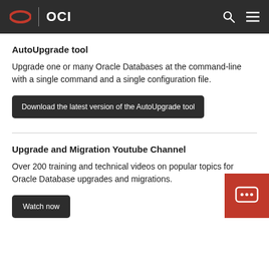OCI
AutoUpgrade tool
Upgrade one or many Oracle Databases at the command-line with a single command and a single configuration file.
Download the latest version of the AutoUpgrade tool
Upgrade and Migration Youtube Channel
Over 200 training and technical videos on popular topics for Oracle Database upgrades and migrations.
Watch now